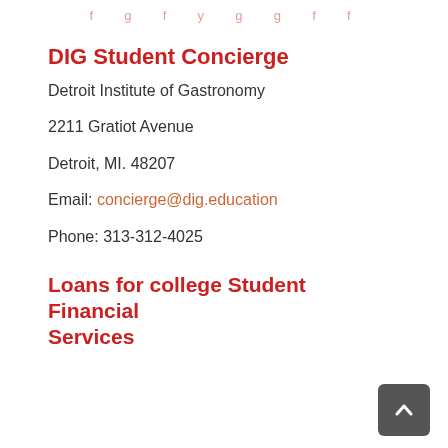f g f y g g f f
DIG Student Concierge
Detroit Institute of Gastronomy
2211 Gratiot Avenue
Detroit, MI. 48207
Email: concierge@dig.education
Phone: 313-312-4025
Loans for college Student Financial Services